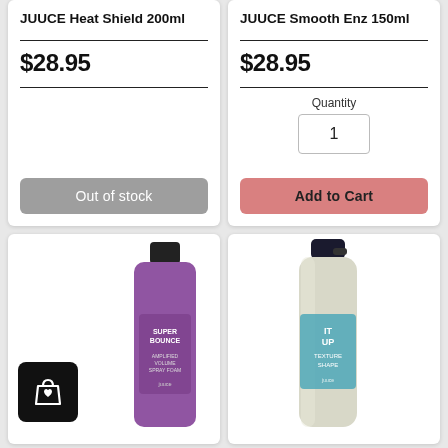JUUCE Heat Shield 200ml
$28.95
Out of stock
JUUCE Smooth Enz 150ml
$28.95
Quantity
1
Add to Cart
[Figure (photo): Purple JUUCE hair product bottle with black cap, with a black shopping bag icon overlay in bottom left]
[Figure (photo): JUUCE hair spray can with black cap, labeled 'IT UP TEXTURE SHAPE']